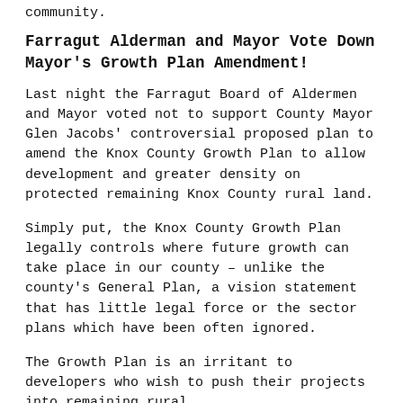community.
Farragut Alderman and Mayor Vote Down Mayor's Growth Plan Amendment!
Last night the Farragut Board of Aldermen and Mayor voted not to support County Mayor Glen Jacobs' controversial proposed plan to amend the Knox County Growth Plan to allow development and greater density on protected remaining Knox County rural land.
Simply put, the Knox County Growth Plan legally controls where future growth can take place in our county – unlike the county's General Plan, a vision statement that has little legal force or the sector plans which have been often ignored.
The Growth Plan is an irritant to developers who wish to push their projects into remaining rural